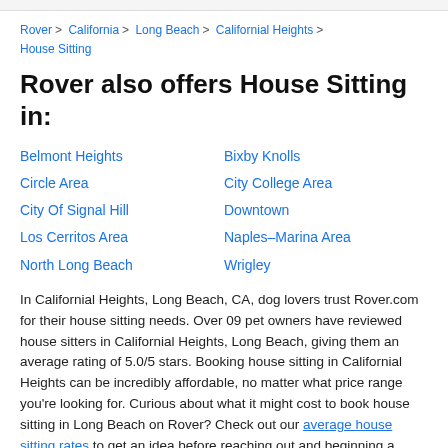Rover > California > Long Beach > Californial Heights > House Sitting
Rover also offers House Sitting in:
Belmont Heights
Bixby Knolls
Circle Area
City College Area
City Of Signal Hill
Downtown
Los Cerritos Area
Naples–Marina Area
North Long Beach
Wrigley
In Californial Heights, Long Beach, CA, dog lovers trust Rover.com for their house sitting needs. Over 09 pet owners have reviewed house sitters in Californial Heights, Long Beach, giving them an average rating of 5.0/5 stars. Booking house sitting in Californial Heights can be incredibly affordable, no matter what price range you're looking for. Curious about what it might cost to book house sitting in Long Beach on Rover? Check out our average house sitting rates to get an idea before reaching out and beginning a conversation with a sitter.
Rover offers the most alternatives to boarding. The sitters...